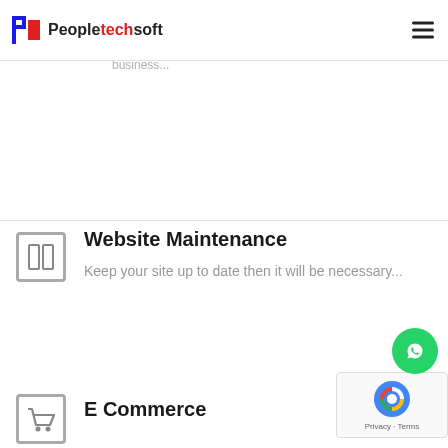[Figure (logo): Peopletechsoft logo with P and S icon in red and blue]
Web Development
web development to dominate the Internet and give your business...
Website Maintenance
Keep your site up to date then it will be necessary...
E Commerce